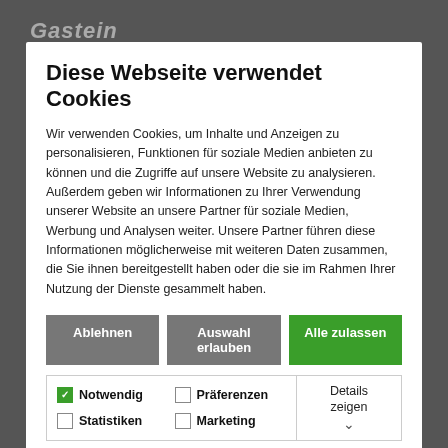Diese Webseite verwendet Cookies
Wir verwenden Cookies, um Inhalte und Anzeigen zu personalisieren, Funktionen für soziale Medien anbieten zu können und die Zugriffe auf unsere Website zu analysieren. Außerdem geben wir Informationen zu Ihrer Verwendung unserer Website an unsere Partner für soziale Medien, Werbung und Analysen weiter. Unsere Partner führen diese Informationen möglicherweise mit weiteren Daten zusammen, die Sie ihnen bereitgestellt haben oder die sie im Rahmen Ihrer Nutzung der Dienste gesammelt haben.
Ablehnen
Auswahl erlauben
Alle zulassen
☑ Notwendig  ☐ Präferenzen  ☐ Statistiken  ☐ Marketing  Details zeigen